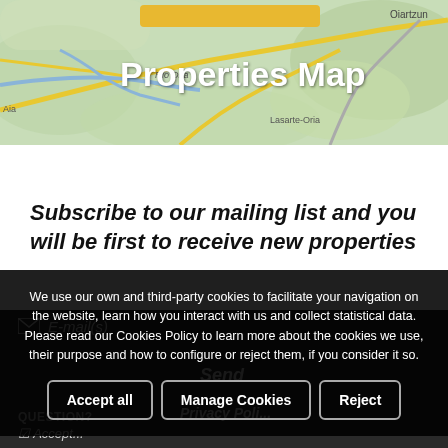[Figure (map): Geographic map showing Lasarte-Oria region with roads and terrain, with a yellow road network and blue river (Río Oria). Place names visible: Oiartzun, Río Oria, Lasarte-Oria, Aia.]
Properties Map
Subscribe to our mailing list and you will be first to receive new properties
We use our own and third-party cookies to facilitate your navigation on the website, learn how you interact with us and collect statistical data. Please read our Cookies Policy to learn more about the cookies we use, their purpose and how to configure or reject them, if you consider it so.
Accept all
Manage Cookies
Reject